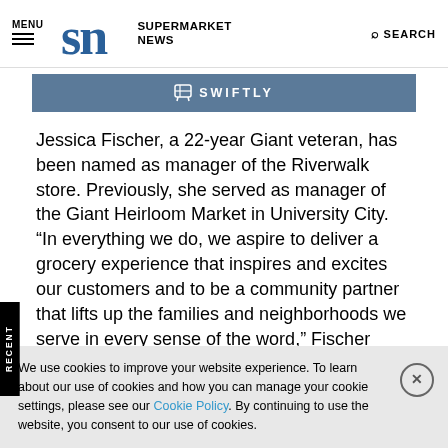MENU | SN SUPERMARKET NEWS | SEARCH
[Figure (logo): Swiftly banner with cart icon and text SWIFTLY]
Jessica Fischer, a 22-year Giant veteran, has been named as manager of the Riverwalk store. Previously, she served as manager of the Giant Heirloom Market in University City. “In everything we do, we aspire to deliver a grocery experience that inspires and excites our customers and to be a community partner that lifts up the families and neighborhoods we serve in every sense of the word,” Fischer commented. “Riverwalk will be no different.”
We use cookies to improve your website experience. To learn about our use of cookies and how you can manage your cookie settings, please see our Cookie Policy. By continuing to use the website, you consent to our use of cookies.